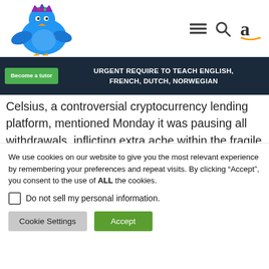[Figure (logo): Blue cartoon bird with crown logo]
[Figure (infographic): Navigation icons: hamburger menu, search magnifying glass, Amazon 'a' logo]
[Figure (illustration): Dark navy banner with green 'Become a tutor' button and text 'URGENT REQUIRE TO TEACH ENGLISH, FRENCH, DUTCH, NORWEGIAN']
Celsius, a controversial cryptocurrency lending platform, mentioned Monday it was pausing all withdrawals, inflicting extra ache within the fragile crypto market.
We use cookies on our website to give you the most relevant experience by remembering your preferences and repeat visits. By clicking “Accept”, you consent to the use of ALL the cookies.
Do not sell my personal information.
Cookie Settings
Accept